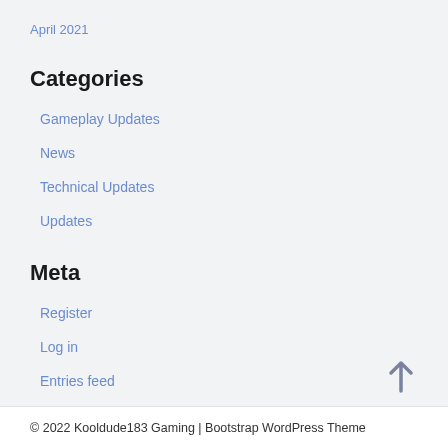April 2021
Categories
Gameplay Updates
News
Technical Updates
Updates
Meta
Register
Log in
Entries feed
Comments feed
WordPress.org
© 2022 Kooldude183 Gaming | Bootstrap WordPress Theme